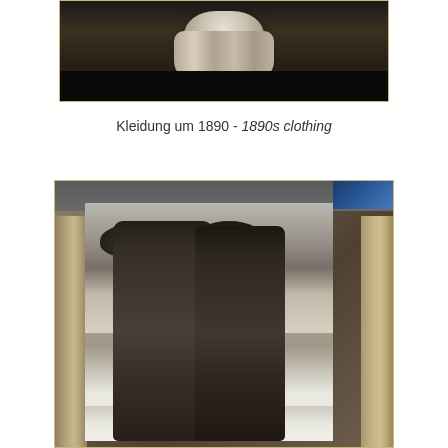[Figure (photo): Top portion of a museum display showing historical clothing from around 1890, with dark background and fabric/garment visible]
Kleidung um 1890 - 1890s clothing
[Figure (photo): Museum display showing a black and white photograph of two women dressed in early 1900s fashion with large decorative hats and long dresses, flanked by mannequins with period clothing]